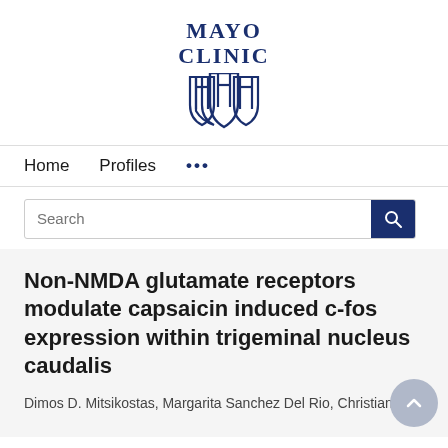[Figure (logo): Mayo Clinic logo with text MAYO CLINIC and shield emblem in dark blue]
Home   Profiles   ...
Search
Non-NMDA glutamate receptors modulate capsaicin induced c-fos expression within trigeminal nucleus caudalis
Dimos D. Mitsikostas, Margarita Sanchez Del Rio, Christian